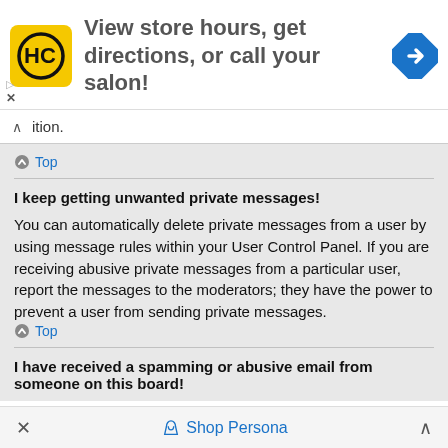[Figure (screenshot): Advertisement banner: HC logo (yellow square with black HC initials), text 'View store hours, get directions, or call your salon!', blue diamond navigation arrow icon on right]
ition.
Top
I keep getting unwanted private messages!
You can automatically delete private messages from a user by using message rules within your User Control Panel. If you are receiving abusive private messages from a particular user, report the messages to the moderators; they have the power to prevent a user from sending private messages.
Top
I have received a spamming or abusive email from someone on this board!
Shop Persona